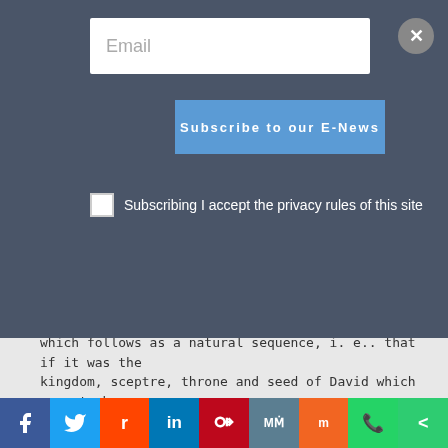[Figure (screenshot): Email subscription overlay with input field, subscribe button, and privacy checkbox on dark background]
authorities do not seem to know, neither do they proclaim that which follows as a natural sequence, i. e.. that if it was the kingdom, sceptre, throne and seed of David which were to be overthrown, then it follows that it is those very same things which must again be planted and builded.
     Hence we affirm that, as God is still holy, and did not lie to David, and if he did not sanctify, call, and commission
[Figure (infographic): Social media sharing bar with Facebook, Twitter, Reddit, LinkedIn, Pinterest, MeWe, Mix, WhatsApp, and Share icons]